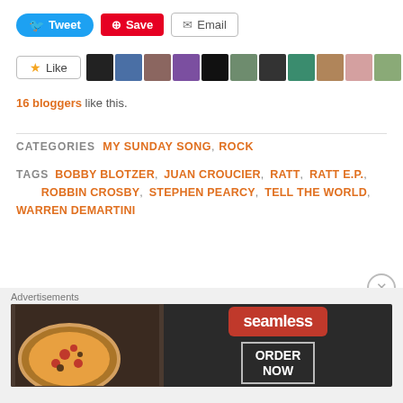[Figure (screenshot): Social sharing buttons row: Tweet (Twitter/blue), Save (Pinterest/red), Email (grey outlined)]
[Figure (screenshot): Like button with star icon and a row of 11 blogger avatar thumbnails]
16 bloggers like this.
CATEGORIES  MY SUNDAY SONG,  ROCK
TAGS  BOBBY BLOTZER,  JUAN CROUCIER,  RATT,  RATT E.P.,  ROBBIN CROSBY,  STEPHEN PEARCY,  TELL THE WORLD,  WARREN DEMARTINI
[Figure (screenshot): Seamless food delivery advertisement banner with pizza image and ORDER NOW button]